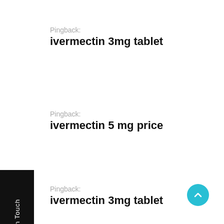Pingback:
ivermectin 3mg tablet
Pingback:
ivermectin 5 mg price
Pingback:
ivermectin 3mg tablet